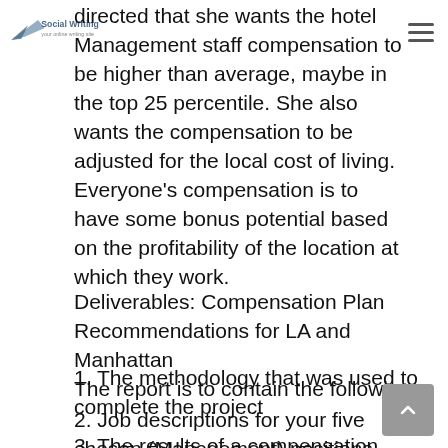Social Wr...
directed that she wants the hotel Management staff compensation to be higher than average, maybe in the top 25 percentile. She also wants the compensation to be adjusted for the local cost of living. Everyone’s compensation is to have some bonus potential based on the profitability of the location at which they work.
Deliverables: Compensation Plan Recommendations for LA and Manhattan
The report is to contain the following.
1. The methodology that was used to complete the project
2. Job descriptions for your five chosen (Management) positions
3. The results of a compensation survey you conducted using sources available on the